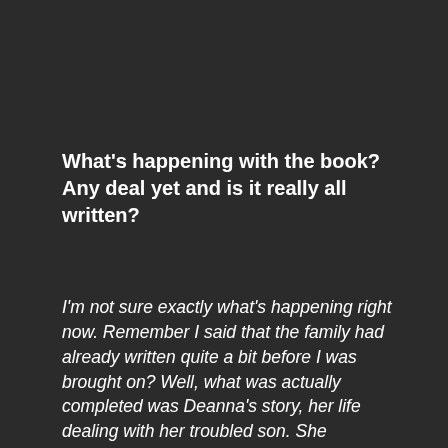What's happening with the book? Any deal yet and is it really all written?
I'm not sure exactly what's happening right now. Remember I said that the family had already written quite a bit before I was brought on? Well, what was actually completed was Deanna's story, her life dealing with her troubled son. She witnessed the whole ordeal. She watched her son achieve fame and fortune and then dealt with his subsequent spiral into a drug induced abyss. Y'know, getting the calls in the middle of the night, telling her that Steven has OD'd or is in jail. She also writes of the last time Steven saw his father, and the violent circumstances therein. It's all very interesting, intense stuff. Well, my assignment was